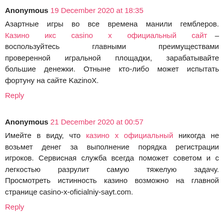Anonymous 19 December 2020 at 18:35
Азартные игры во все времена манили гемблеров. Казино икс casino x официальный сайт – воспользуйтесь главными преимуществами проверенной игральной площадки, зарабатывайте большие денежки. Отныне кто-либо может испытать фортуну на сайте KazinoX.
Reply
Anonymous 21 December 2020 at 00:57
Имейте в виду, что казино х официальный никогда не возьмет денег за выполнение порядка регистрации игроков. Сервисная служба всегда поможет советом и с легкостью разрулит самую тяжелую задачу. Просмотреть истинность казино возможно на главной странице casino-x-oficialniy-sayt.com.
Reply
Anonymous 21 December 2020 at 20:33